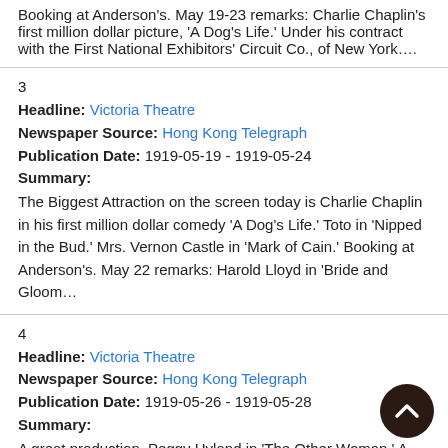Booking at Anderson's. May 19-23 remarks: Charlie Chaplin's first million dollar picture, 'A Dog's Life.' Under his contract with the First National Exhibitors' Circuit Co., of New York….
3
Headline: Victoria Theatre
Newspaper Source: Hong Kong Telegraph
Publication Date: 1919-05-19 - 1919-05-24
Summary:
The Biggest Attraction on the screen today is Charlie Chaplin in his first million dollar comedy 'A Dog's Life.' Toto in 'Nipped in the Bud.' Mrs. Vernon Castle in 'Mark of Cain.' Booking at Anderson's. May 22 remarks: Harold Lloyd in 'Bride and Gloom…
4
Headline: Victoria Theatre
Newspaper Source: Hong Kong Telegraph
Publication Date: 1919-05-26 - 1919-05-28
Summary:
A great production, Peggy Hyland in 'The Other Woman.' A great